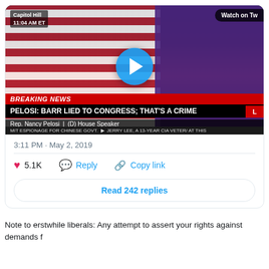[Figure (screenshot): CNN Breaking News video thumbnail showing Nancy Pelosi at Capitol Hill press conference with chyron 'PELOSI: BARR LIED TO CONGRESS; THAT'S A CRIME'. Caption shows Capitol Hill 11:04 AM ET, Rep. Nancy Pelosi (D) House Speaker. Play button overlay. 'Watch on Tw' label top right.]
3:11 PM · May 2, 2019
♥ 5.1K   Reply   Copy link
Read 242 replies
Note to erstwhile liberals: Any attempt to assert your rights against demands f